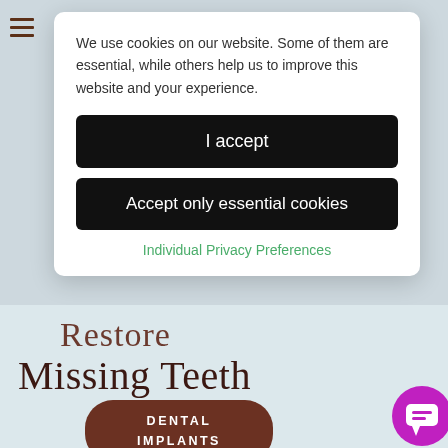We use cookies on our website. Some of them are essential, while others help us to improve this website and your experience.
I accept
Accept only essential cookies
Individual Privacy Preferences
Available to chat
Restore
Missing Teeth
DENTAL IMPLANTS